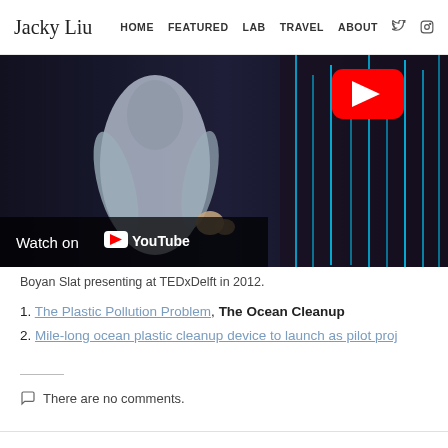Jacky Liu  HOME  FEATURED  LAB  TRAVEL  ABOUT
[Figure (screenshot): YouTube video embed showing Boyan Slat presenting at TEDxDelft in 2012. A speaker on a dark stage with blue neon vertical lights, with YouTube play button overlay and 'Watch on YouTube' bar at the bottom.]
Boyan Slat presenting at TEDxDelft in 2012.
1. The Plastic Pollution Problem, The Ocean Cleanup
2. Mile-long ocean plastic cleanup device to launch as pilot proj…
There are no comments.